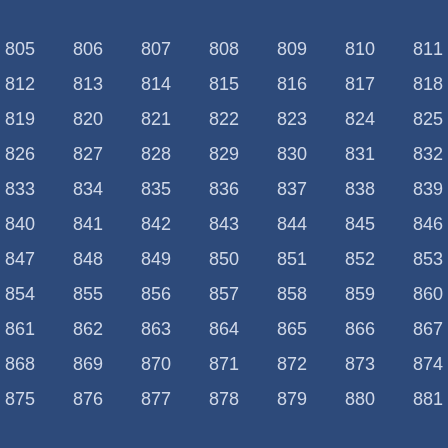| 805 | 806 | 807 | 808 | 809 | 810 | 811 |
| 812 | 813 | 814 | 815 | 816 | 817 | 818 |
| 819 | 820 | 821 | 822 | 823 | 824 | 825 |
| 826 | 827 | 828 | 829 | 830 | 831 | 832 |
| 833 | 834 | 835 | 836 | 837 | 838 | 839 |
| 840 | 841 | 842 | 843 | 844 | 845 | 846 |
| 847 | 848 | 849 | 850 | 851 | 852 | 853 |
| 854 | 855 | 856 | 857 | 858 | 859 | 860 |
| 861 | 862 | 863 | 864 | 865 | 866 | 867 |
| 868 | 869 | 870 | 871 | 872 | 873 | 874 |
| 875 | 876 | 877 | 878 | 879 | 880 | 881 |